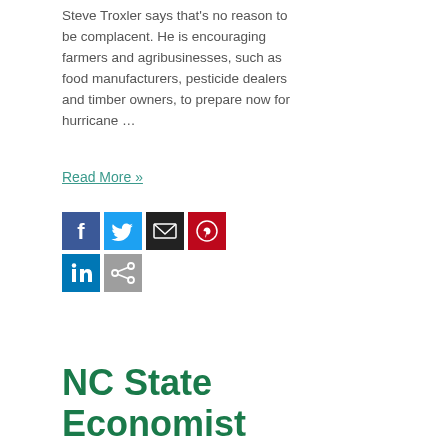Steve Troxler says that's no reason to be complacent. He is encouraging farmers and agribusinesses, such as food manufacturers, pesticide dealers and timber owners, to prepare now for hurricane …
Read More »
[Figure (other): Social media share icons: Facebook (blue), Twitter (blue), Email (black), Pinterest (red), LinkedIn (blue), Share (gray)]
NC State Economist Mike